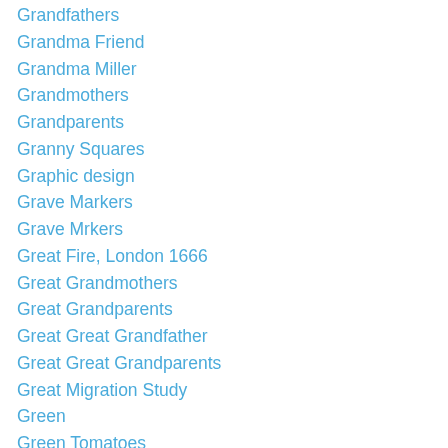Grandfathers
Grandma Friend
Grandma Miller
Grandmothers
Grandparents
Granny Squares
Graphic design
Grave Markers
Grave Mrkers
Great Fire, London 1666
Great Grandmothers
Great Grandparents
Great Great Grandfather
Great Great Grandparents
Great Migration Study
Green
Green Tomatoes
Greenwood Senior Center
Greystones
Guinness